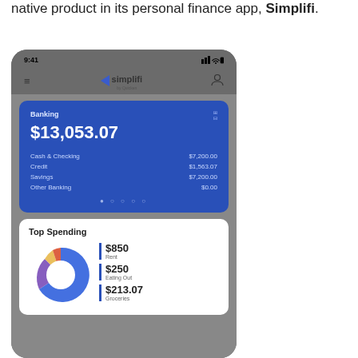native product in its personal finance app, Simplifi.
[Figure (screenshot): Mobile app screenshot of Simplifi by Quicken personal finance app showing: status bar with 9:41 time, navigation bar with hamburger menu and Simplifi logo, a Banking card showing $13,053.07 total with breakdown (Cash & Checking $7,200.00, Credit $1,563.07, Savings $7,200.00, Other Banking $0.00), and a Top Spending section with a donut chart and list showing Rent $850, Eating Out $250, Groceries $213.07]